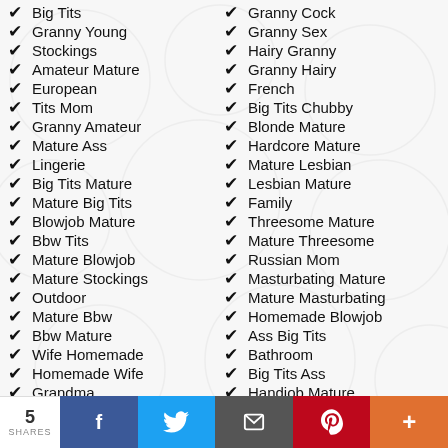✔ Big Tits
✔ Granny Young
✔ Stockings
✔ Amateur Mature
✔ European
✔ Tits Mom
✔ Granny Amateur
✔ Mature Ass
✔ Lingerie
✔ Big Tits Mature
✔ Mature Big Tits
✔ Blowjob Mature
✔ Bbw Tits
✔ Mature Blowjob
✔ Mature Stockings
✔ Outdoor
✔ Mature Bbw
✔ Bbw Mature
✔ Wife Homemade
✔ Homemade Wife
✔ Grandma
✔ Granny Cock
✔ Granny Sex
✔ Hairy Granny
✔ Granny Hairy
✔ French
✔ Big Tits Chubby
✔ Blonde Mature
✔ Hardcore Mature
✔ Mature Lesbian
✔ Lesbian Mature
✔ Family
✔ Threesome Mature
✔ Mature Threesome
✔ Russian Mom
✔ Masturbating Mature
✔ Mature Masturbating
✔ Homemade Blowjob
✔ Ass Big Tits
✔ Bathroom
✔ Big Tits Ass
✔ Handjob Mature
5 SHARES  f  t  email  P  +